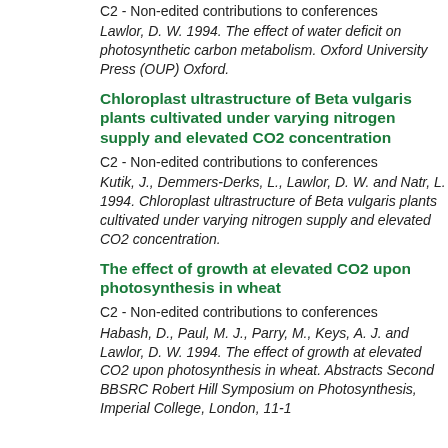C2 - Non-edited contributions to conferences
Lawlor, D. W. 1994. The effect of water deficit on photosynthetic carbon metabolism. Oxford University Press (OUP) Oxford.
Chloroplast ultrastructure of Beta vulgaris plants cultivated under varying nitrogen supply and elevated CO2 concentration
C2 - Non-edited contributions to conferences
Kutik, J., Demmers-Derks, L., Lawlor, D. W. and Natr, L. 1994. Chloroplast ultrastructure of Beta vulgaris plants cultivated under varying nitrogen supply and elevated CO2 concentration.
The effect of growth at elevated CO2 upon photosynthesis in wheat
C2 - Non-edited contributions to conferences
Habash, D., Paul, M. J., Parry, M., Keys, A. J. and Lawlor, D. W. 1994. The effect of growth at elevated CO2 upon photosynthesis in wheat. Abstracts Second BBSRC Robert Hill Symposium on Photosynthesis, Imperial College, London, 11-1